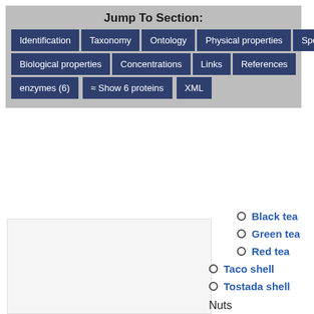Jump To Section:
Identification | Taxonomy | Ontology | Physical properties | Spectra
Biological properties | Concentrations | Links | References
enzymes (6) | Show 6 proteins | XML
Black tea
Green tea
Red tea
Taco shell
Tostada shell
Nuts
Cashew nut
Pine nut
Pistachio
Almond
Peanut
Macadamia nut
Japanese walnu